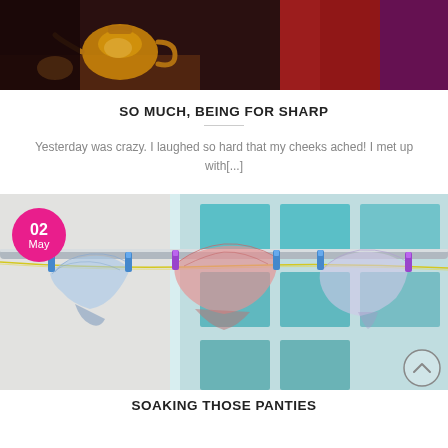[Figure (photo): Top portion of a photo showing people at a table, one holding a glass teapot, wearing red and dark purple clothing]
SO MUCH, BEING FOR SHARP
Yesterday was crazy. I laughed so hard that my cheeks ached! I met up with[...]
[Figure (photo): Photo of three pairs of women's underwear hanging on a clothesline with colorful plastic clips (blue, purple) against a light teal/green building background. A pink date badge reads 02 May.]
SOAKING THOSE PANTIES